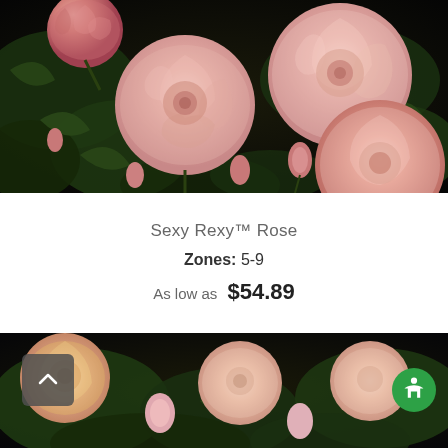[Figure (photo): Close-up photograph of Sexy Rexy roses — large, layered pink blooms with reddish-pink buds against dark green foliage and a black background]
Sexy Rexy™ Rose
Zones: 5-9
As low as  $54.89
[Figure (photo): Partial view of garden roses with pink and yellow blooms and green foliage, partially obscured, bottom of page]